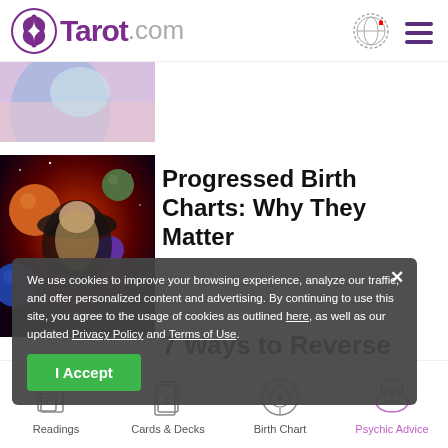Tarot.com
[Figure (photo): Partial top image — person with light colors visible at top left]
[Figure (photo): Woman in wide-brimmed hat with planets and space background (astrology themed)]
Progressed Birth Charts: Why They Matter
7 Ways to Reverse Bad Karma
We use cookies to improve your browsing experience, analyze our traffic, and offer personalized content and advertising. By continuing to use this site, you agree to the usage of cookies as outlined here, as well as our updated Privacy Policy and Terms of Use.
I Accept
Readings  Cards & Decks  Birth Chart  Psychic Advice